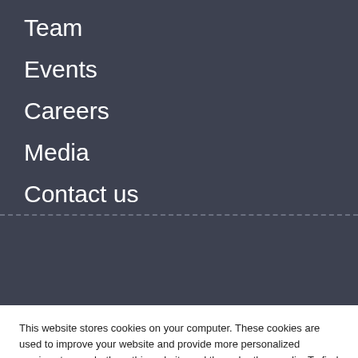Team
Events
Careers
Media
Contact us
This website stores cookies on your computer. These cookies are used to improve your website and provide more personalized services to you, both on this website and through other media. To find out more about the cookies we use, see our Privacy Policy.
Accept
Decline